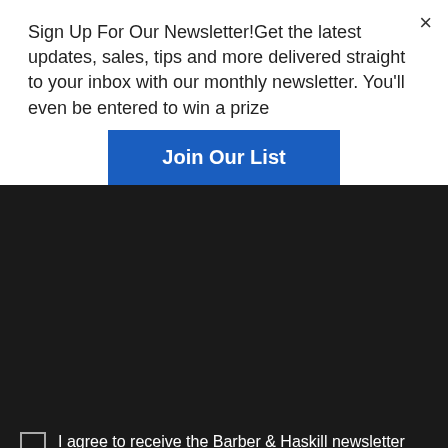Sign Up For Our Newsletter!Get the latest updates, sales, tips and more delivered straight to your inbox with our monthly newsletter. You'll even be entered to win a prize
Join Our List
[Figure (screenshot): reCAPTCHA widget with Privacy and Terms links]
I agree to receive the Barber & Haskill newsletter containing news, updates, and promotional offers. You can withdraw your consent at any time.
SIGN UP
[Figure (infographic): Social media icons: Facebook, Twitter, YouTube, Pinterest, RSS, Email]